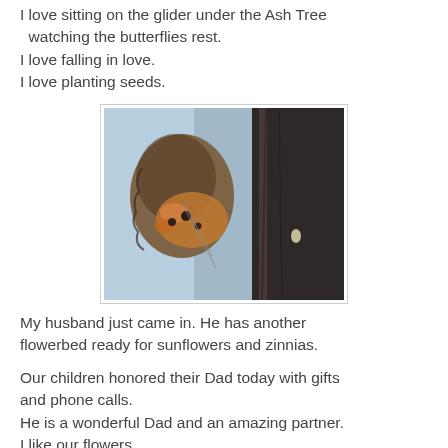I love sitting on the glider under the Ash Tree watching the butterflies rest.
I love falling in love.
I love planting seeds.
[Figure (photo): Close-up photo of a butterfly resting on a dark tree trunk, with a light blue sky in the background. The butterfly's underwing pattern shows brown, orange, and black markings.]
My husband just came in. He has another flowerbed ready for sunflowers and zinnias.
Our children honored their Dad today with gifts and phone calls.
He is a wonderful Dad and an amazing partner.
I like our flowers...